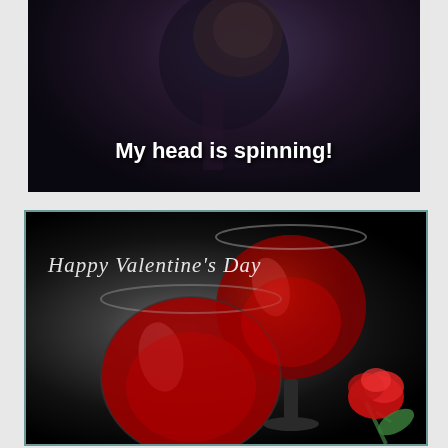[Figure (photo): Dark photo of a man with the text 'My head is spinning!' overlaid in white bold font on a dark background]
[Figure (photo): Valentine's Day card image with two wine glasses filled with red wine and a rose, with 'Happy Valentine's Day' in cursive white text, framed with a teal border]